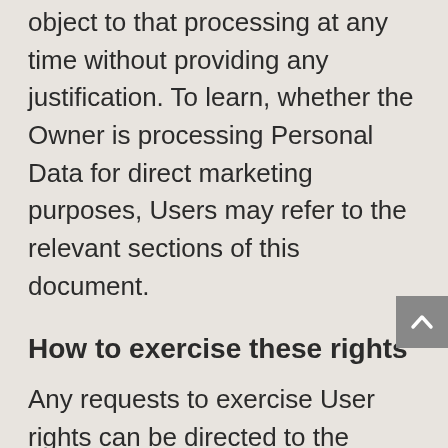object to that processing at any time without providing any justification. To learn, whether the Owner is processing Personal Data for direct marketing purposes, Users may refer to the relevant sections of this document.
How to exercise these rights
Any requests to exercise User rights can be directed to the Owner through the contact details provided in this document. These requests can be exercised free of charge and will be addressed by the Owner as early as